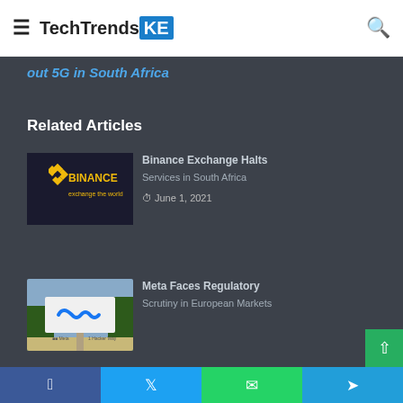TechTrendsKE
out 5G in South Africa
Related Articles
[Figure (logo): Binance logo - exchange the world, on dark background]
June 1, 2021
[Figure (photo): Meta (Facebook) sign at 1 Hacker Way campus]
Facebook | Twitter | WhatsApp | Telegram share buttons